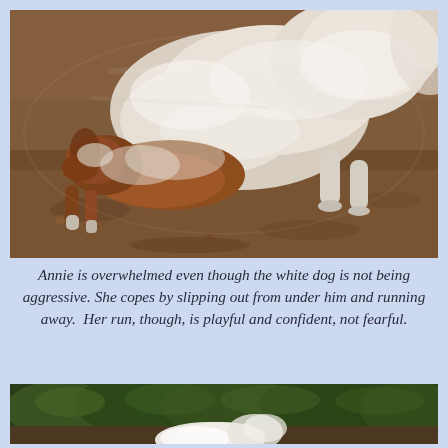[Figure (photo): A blurry action photo of two dogs — a white fluffy dog on top of a smaller brown and white dog (Annie) — outdoors on brown dirt/ground. The white dog appears to be jumping or pinning the smaller dog, and the smaller dog is slipping out from underneath.]
Annie is overwhelmed even though the white dog is not being aggressive. She copes by slipping out from under him and running away.  Her run, though, is playful and confident, not fearful.
[Figure (photo): Partial photo of a white dog (Annie) running away across a green grassy/shrubby area with dark green bushes/hedges in the background. Only the back portion and tail of the white dog is visible at the bottom of the frame.]